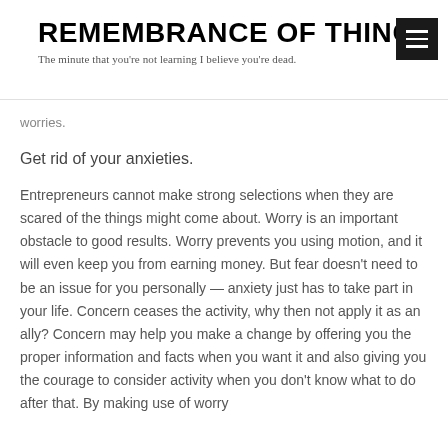REMEMBRANCE OF THINGS
The minute that you're not learning I believe you're dead.
worries.
Get rid of your anxieties.
Entrepreneurs cannot make strong selections when they are scared of the things might come about. Worry is an important obstacle to good results. Worry prevents you using motion, and it will even keep you from earning money. But fear doesn't need to be an issue for you personally — anxiety just has to take part in your life. Concern ceases the activity, why then not apply it as an ally? Concern may help you make a change by offering you the proper information and facts when you want it and also giving you the courage to consider activity when you don't know what to do after that. By making use of worry